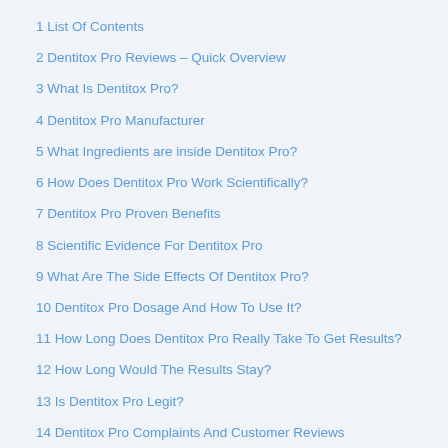1 List Of Contents
2 Dentitox Pro Reviews – Quick Overview
3 What Is Dentitox Pro?
4 Dentitox Pro Manufacturer
5 What Ingredients are inside Dentitox Pro?
6 How Does Dentitox Pro Work Scientifically?
7 Dentitox Pro Proven Benefits
8 Scientific Evidence For Dentitox Pro
9 What Are The Side Effects Of Dentitox Pro?
10 Dentitox Pro Dosage And How To Use It?
11 How Long Does Dentitox Pro Really Take To Get Results?
12 How Long Would The Results Stay?
13 Is Dentitox Pro Legit?
14 Dentitox Pro Complaints And Customer Reviews